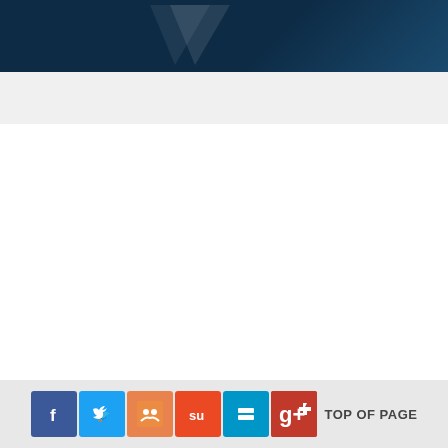Home › Ria Estates And Investments Private Limited
TOP OF PAGE